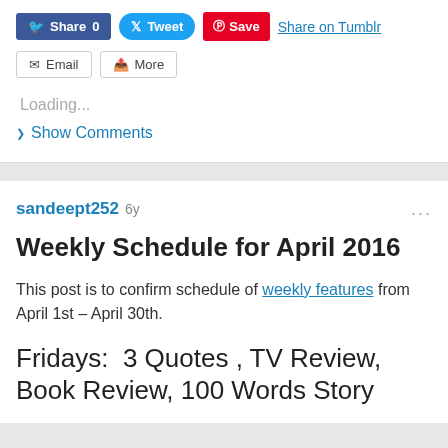[Figure (screenshot): Social share buttons: Facebook Share 0, Tweet, Pinterest Save, Share on Tumblr, Email, More]
Loading...
Show Comments
sandeept252 6y
Weekly Schedule for April 2016
This post is to confirm schedule of weekly features from April 1st – April 30th.
Fridays:  3 Quotes , TV Review, Book Review, 100 Words Story